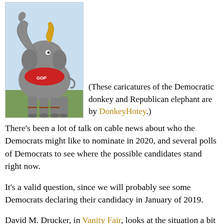[Figure (photo): A caricature illustration of a Republican elephant with trunk raised, wearing a red saddle blanket with GOP symbol, standing on grass with a light blue sky background.]
(These caricatures of the Democratic donkey and Republican elephant are by DonkeyHotey.)
There's been a lot of talk on cable news about who the Democrats might like to nominate in 2020, and several polls of Democrats to see where the possible candidates stand right now.
It's a valid question, since we will probably see some Democrats declaring their candidacy in January of 2019.
David M. Drucker, in Vanity Fair, looks at the situation a bit differently. Instead of asking Democrats who they would like, he asks some Republican insiders who they they most and least like to face in the 2020 presidential election. Here is